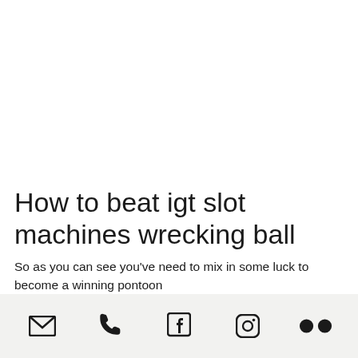How to beat igt slot machines wrecking ball
So as you can see you've need to mix in some luck to become a winning pontoon
Icons: email, phone, facebook, instagram, flickr